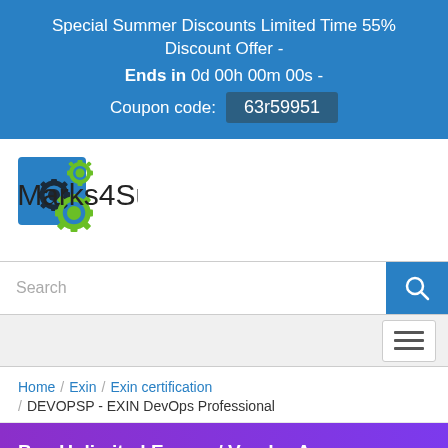Special Summer Discounts Limited Time 55% Discount Offer - Ends in 0d 00h 00m 00s - Coupon code: 63r59951
[Figure (logo): Marks4Sure logo with gear icons in blue and green]
[Figure (other): Search bar with blue search button and hamburger menu]
Home / Exin / Exin certification / DEVOPSP - EXIN DevOps Professional
Buy Unlimited Exams / Vendor Access